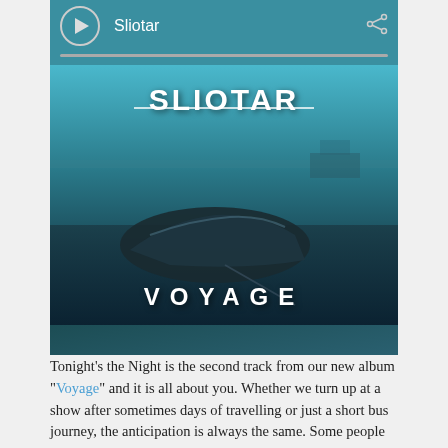[Figure (screenshot): Music player interface showing Sliotar album 'Voyage' with play button, progress bar, share icon, and album artwork featuring a wrecked boat on a beach with 'SLIOTAR' and 'VOYAGE' text overlaid on a teal-toned image.]
Tonight's the Night is the second track from our new album "Voyage" and it is all about you. Whether we turn up at a show after sometimes days of travelling or just a short bus journey, the anticipation is always the same. Some people in the audience may have